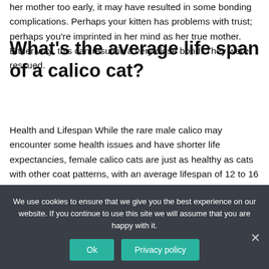her mother too early, it may have resulted in some bonding complications. Perhaps your kitten has problems with trust; perhaps you're imprinted in her mind as her true mother. Either way, this can result in a very close bond. They were rescued.
What's the average life span of a calico cat?
Health and Lifespan While the rare male calico may encounter some health issues and have shorter life expectancies, female calico cats are just as healthy as cats with other coat patterns, with an average lifespan of 12 to 16 years. The average lifespan of calico cats is 12 to 16 years.
We use cookies to ensure that we give you the best experience on our website. If you continue to use this site we will assume that you are happy with it.